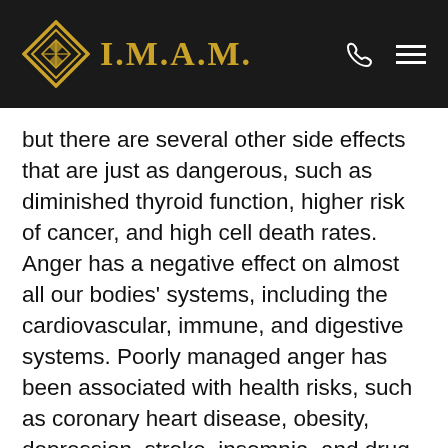I.M.A.M.
but there are several other side effects that are just as dangerous, such as diminished thyroid function, higher risk of cancer, and high cell death rates. Anger has a negative effect on almost all our bodies' systems, including the cardiovascular, immune, and digestive systems. Poorly managed anger has been associated with health risks, such as coronary heart disease, obesity, depression, stroke, insomnia, and drug and alcohol addiction.6 Moreover, it also greatly diminishes the ability of our immune system